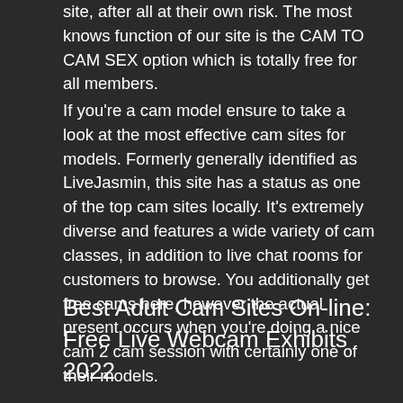site, after all at their own risk. The most knows function of our site is the CAM TO CAM SEX option which is totally free for all members.
If you're a cam model ensure to take a look at the most effective cam sites for models. Formerly generally identified as LiveJasmin, this site has a status as one of the top cam sites locally. It's extremely diverse and features a wide variety of cam classes, in addition to live chat rooms for customers to browse. You additionally get free cams here, however the actual present occurs when you're doing a nice cam 2 cam session with certainly one of their models.
Best Adult Cam Sites On-line: Free Live Webcam Exhibits 2022